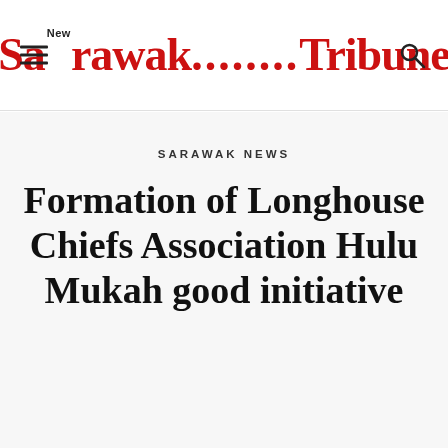New Sarawak Tribune
SARAWAK NEWS
Formation of Longhouse Chiefs Association Hulu Mukah good initiative